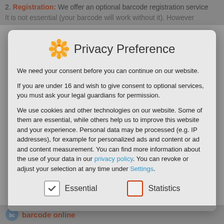2. Registration: We offer an optional barcode registration service. It is not essential (your barcode will work without it). However
Privacy Preference
We need your consent before you can continue on our website.
If you are under 16 and wish to give consent to optional services, you must ask your legal guardians for permission.
We use cookies and other technologies on our website. Some of them are essential, while others help us to improve this website and your experience. Personal data may be processed (e.g. IP addresses), for example for personalized ads and content or ad and content measurement. You can find more information about the use of your data in our privacy policy. You can revoke or adjust your selection at any time under Settings.
Essential
Statistics
barcode online